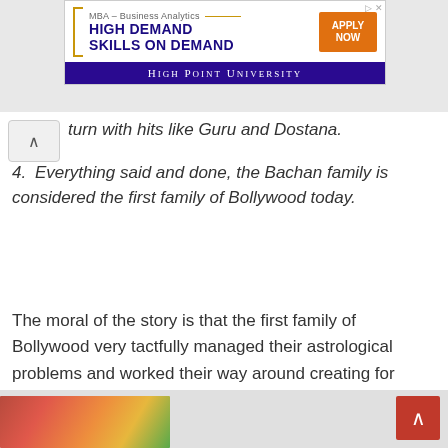[Figure (screenshot): Advertisement banner for High Point University MBA - Business Analytics program. Purple and white design with orange 'APPLY NOW' button. Text reads 'MBA - Business Analytics HIGH DEMAND SKILLS ON DEMAND' with 'HIGH POINT UNIVERSITY' in purple bar below.]
4. Everything said and done, the Bachan family is considered the first family of Bollywood today.
The moral of the story is that the first family of Bollywood very tactfully managed their astrological problems and worked their way around creating for themselves a happy and harmonious life.